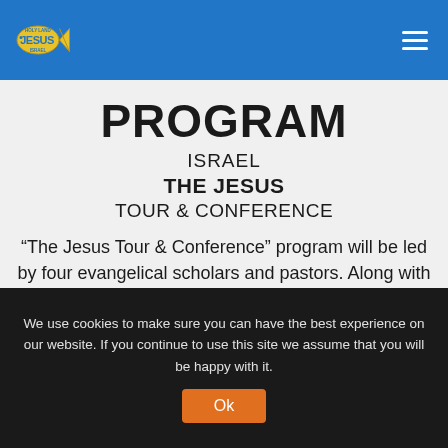Holy Land Jesus Israel — navigation header with logo and hamburger menu
PROGRAM
ISRAEL
THE JESUS
TOUR & CONFERENCE
“The Jesus Tour & Conference” program will be led by four evangelical scholars and pastors. Along with informative insights from
We use cookies to make sure you can have the best experience on our website. If you continue to use this site we assume that you will be happy with it.